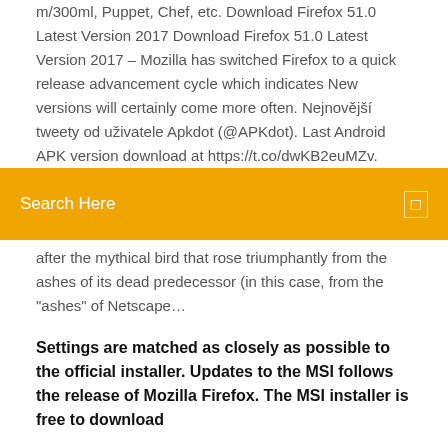m/300ml, Puppet, Chef, etc. Download Firefox 51.0 Latest Version 2017 Download Firefox 51.0 Latest Version 2017 – Mozilla has switched Firefox to a quick release advancement cycle which indicates New versions will certainly come more often. Nejnovější tweety od uživatele Apkdot (@APKdot). Last Android APK version download at https://t.co/dwKB2euMZv.
[Figure (screenshot): Orange search bar with 'Search Here' text and a small icon on the right]
after the mythical bird that rose triumphantly from the ashes of its dead predecessor (in this case, from the "ashes" of Netscape…
Settings are matched as closely as possible to the official installer. Updates to the MSI follows the release of Mozilla Firefox. The MSI installer is free to download
Since version 5.0, a rapid release cycle was put into effect, resulting in a new major version release every six weeks on Tuesday. Firefox 72 is the latest version, which was released on